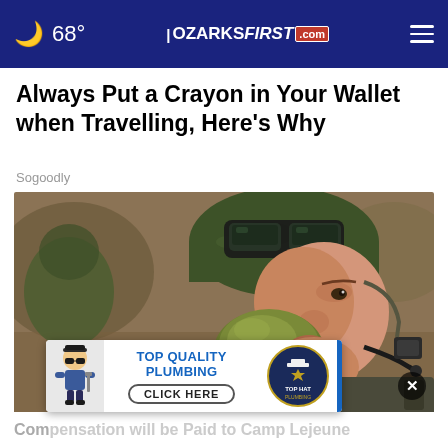68° | OZARKSFIRST.com
Always Put a Crayon in Your Wallet when Travelling, Here's Why
Sogoodly
[Figure (photo): Close-up of a soldier in camouflage gear and helmet with goggles, drinking from a canteen/water container, with communication equipment visible.]
[Figure (infographic): Advertisement banner for Top Quality Plumbing with a cartoon plumber mascot, 'TOP QUALITY PLUMBING' headline, 'CLICK HERE' button, and Top Hat Plumbing logo.]
Compensation will be Paid to Camp Lejeune